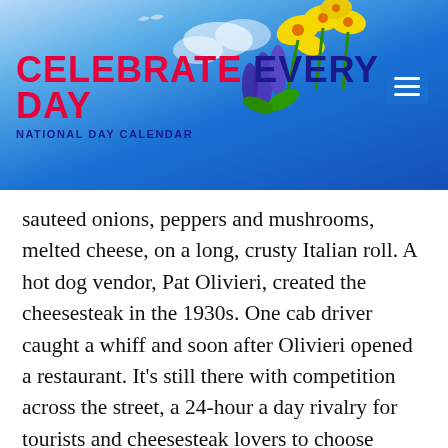CELEBRATE EVERY DAY — NATIONAL DAY CALENDAR
sauteed onions, peppers and mushrooms, melted cheese, on a long, crusty Italian roll. A hot dog vendor, Pat Olivieri, created the cheesesteak in the 1930s. One cab driver caught a whiff and soon after Olivieri opened a restaurant. It's still there with competition across the street, a 24-hour a day rivalry for tourists and cheesesteak lovers to choose along with several others in the area.
Sweets